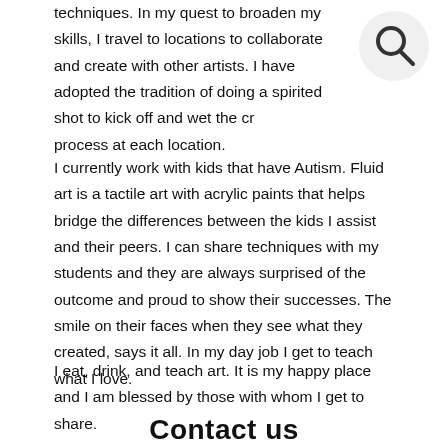techniques. In my quest to broaden my skills, I travel to locations to collaborate and create with other artists. I have adopted the tradition of doing a spirited shot to kick off and wet the creative process at each location.
[Figure (other): Search icon - circular magnifying glass symbol in top right corner]
I currently work with kids that have Autism. Fluid art is a tactile art with acrylic paints that helps bridge the differences between the kids I assist and their peers. I can share techniques with my students and they are always surprised of the outcome and proud to show their successes. The smile on their faces when they see what they created, says it all. In my day job I get to teach what I love.
I eat, drink, and teach art. It is my happy place and I am blessed by those with whom I get to share.
Contact us